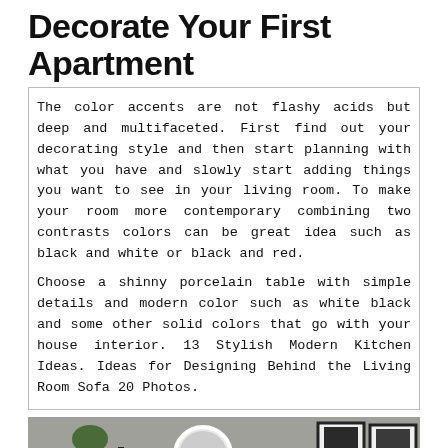Decorate Your First Apartment
The color accents are not flashy acids but deep and multifaceted. First find out your decorating style and then start planning with what you have and slowly start adding things you want to see in your living room. To make your room more contemporary combining two contrasts colors can be great idea such as black and white or black and red.
Choose a shinny porcelain table with simple details and modern color such as white black and some other solid colors that go with your house interior. 13 Stylish Modern Kitchen Ideas. Ideas for Designing Behind the Living Room Sofa 20 Photos.
[Figure (photo): Interior room photo showing a living room with framed wall art, a round mirror, candles, white sofa, and a red CLOSE button overlay at the bottom center]